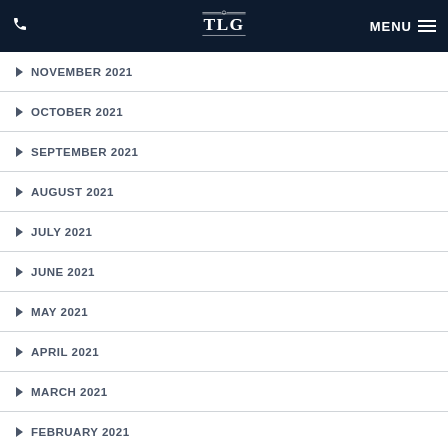TLG — MENU
NOVEMBER 2021
OCTOBER 2021
SEPTEMBER 2021
AUGUST 2021
JULY 2021
JUNE 2021
MAY 2021
APRIL 2021
MARCH 2021
FEBRUARY 2021
JANUARY 2021
DECEMBER 2020